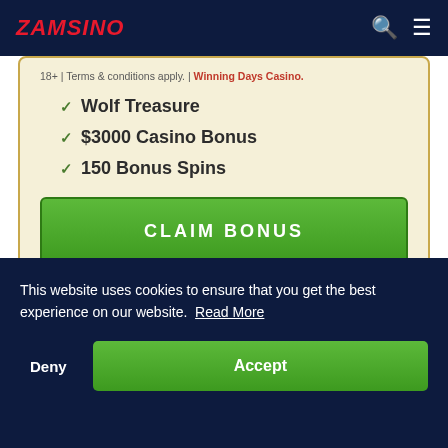ZAMSINO
18+ | Terms & conditions apply. | Winning Days Casino.
Wolf Treasure
$3000 Casino Bonus
150 Bonus Spins
CLAIM BONUS
This website uses cookies to ensure that you get the best experience on our website. Read More
Deny
Accept